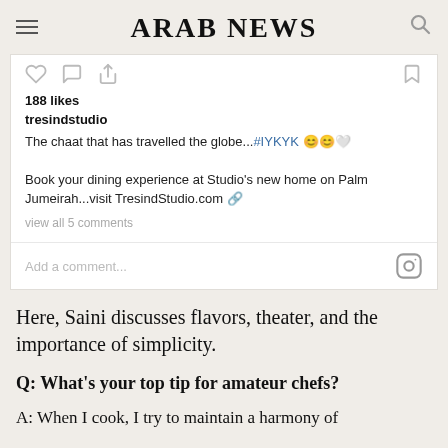ARAB NEWS
[Figure (screenshot): Instagram embed card from tresindstudio showing 188 likes, caption about chaat travelling the globe with hashtag #IYKYK and emojis, booking info for TresindStudio.com, view all 5 comments, and Add a comment field with Instagram logo icon]
Here, Saini discusses flavors, theater, and the importance of simplicity.
Q: What's your top tip for amateur chefs?
A: When I cook, I try to maintain a harmony of